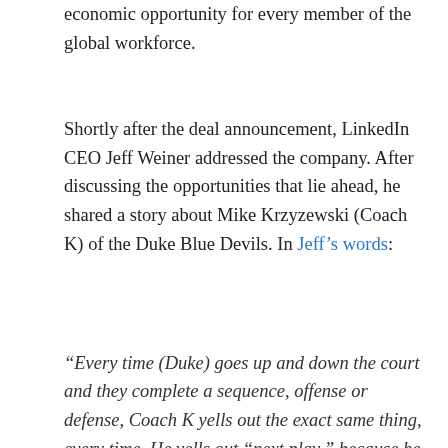economic opportunity for every member of the global workforce.
Shortly after the deal announcement, LinkedIn CEO Jeff Weiner addressed the company. After discussing the opportunities that lie ahead, he shared a story about Mike Krzyzewski (Coach K) of the Duke Blue Devils. In Jeff's words:
“Every time (Duke) goes up and down the court and they complete a sequence, offense or defense, Coach K yells out the exact same thing, every time. He yells out “next play,” because he doesn’t want the team lingering too long on what just took place. He doesn’t want them celebrating that incredible alley-oop dunk, and he doesn’t want them lamenting the fact that the opposing team just stole the ball and had a fast break that led to an easy layup. You can